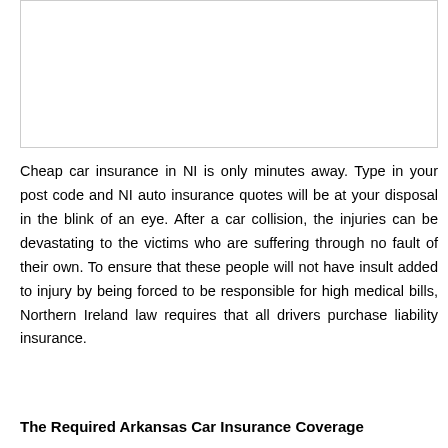[Figure (other): Empty white image box with a border, likely a placeholder for an illustration or photo related to car insurance.]
Cheap car insurance in NI is only minutes away. Type in your post code and NI auto insurance quotes will be at your disposal in the blink of an eye. After a car collision, the injuries can be devastating to the victims who are suffering through no fault of their own. To ensure that these people will not have insult added to injury by being forced to be responsible for high medical bills, Northern Ireland law requires that all drivers purchase liability insurance.
The Required Arkansas Car Insurance Coverage